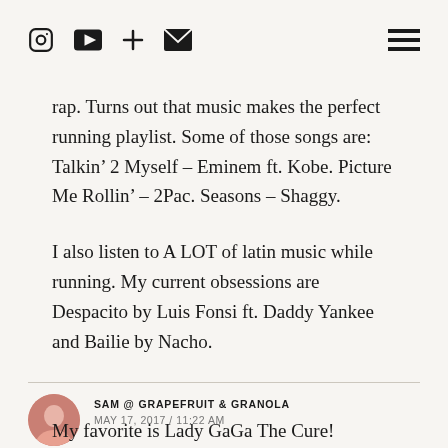Icons: Instagram, YouTube, Plus, Mail, Hamburger menu
rap. Turns out that music makes the perfect running playlist. Some of those songs are: Talkin’ 2 Myself – Eminem ft. Kobe. Picture Me Rollin’ – 2Pac. Seasons – Shaggy.
I also listen to A LOT of latin music while running. My current obsessions are Despacito by Luis Fonsi ft. Daddy Yankee and Bailie by Nacho.
SAM @ GRAPEFRUIT & GRANOLA
MAY 17, 2017 / 11:22 AM
My favorite is Lady GaGa The Cure!